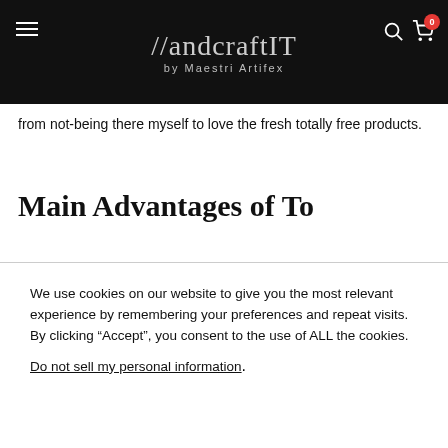HandcraftIT by Maestri Artifex
from not-being there myself to love the fresh totally free products.
Main Advantages of To
We use cookies on our website to give you the most relevant experience by remembering your preferences and repeat visits. By clicking “Accept”, you consent to the use of ALL the cookies. Do not sell my personal information.
Cookie Settings | ACCEPT